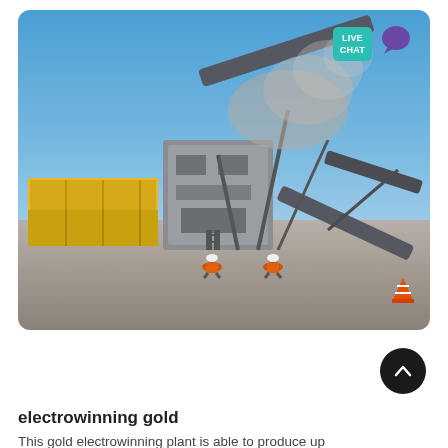[Figure (photo): Outdoor mining site with large industrial crushing/conveyor machinery, yellow shipping containers on the left, dust cloud rising from equipment, two workers in orange high-visibility vests and white helmets crouching in foreground on gravel ground, blue sky background. A 'LIVE CHAT' badge and purple speech bubble icon overlay the top-right corner of the image.]
electrowinning gold
This gold electrowinning plant is able to produce up